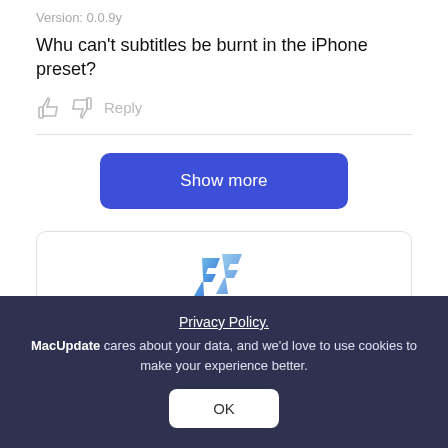Version: 0.0.9y
Whu can't subtitles be burnt in the iPhone preset?
Reply
Show more
[Figure (logo): ffmpegX app logo — blue stylized double-F letterform]
How would you rate ffmpegX?
Privacy Policy. MacUpdate cares about your data, and we'd love to use cookies to make your experience better.
OK